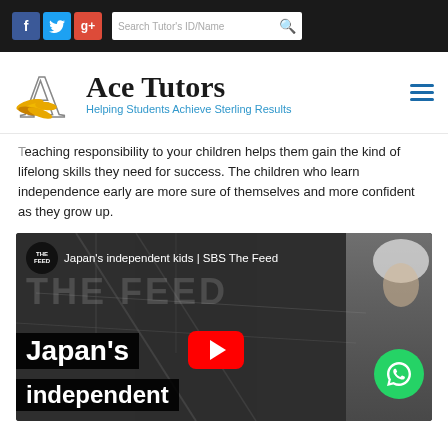Ace Tutors - Helping Students Achieve Sterling Results
Teaching responsibility to your children helps them gain the kind of lifelong skills they need for success. The children who learn independence early are more sure of themselves and more confident as they grow up.
[Figure (screenshot): YouTube video thumbnail for 'Japan's independent kids | SBS The Feed' embedded on the Ace Tutors website. Shows a dark urban/train station background with THE FEED branding, large white bold text reading 'Japan's independent' overlaid on black bars, a red YouTube play button, a green WhatsApp icon, and a child in a white hat visible on the right side.]